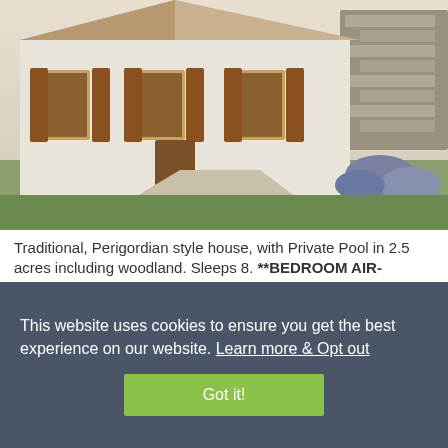[Figure (photo): Exterior photo of a traditional Perigordian style house with brown shutters, white walls, stone path, and lavender garden in background]
Traditional, Perigordian style house, with Private Pool in 2.5 acres including woodland. Sleeps 8. **BEDROOM AIR-CONDITIONING**
Sleeps 8
4 Bedrooms
2 Bathrooms
Child Friendly  Wifi  Air Con  Private Pool  Parking  Garden
This website uses cookies to ensure you get the best experience on our website. Learn more & Opt out
Got it!